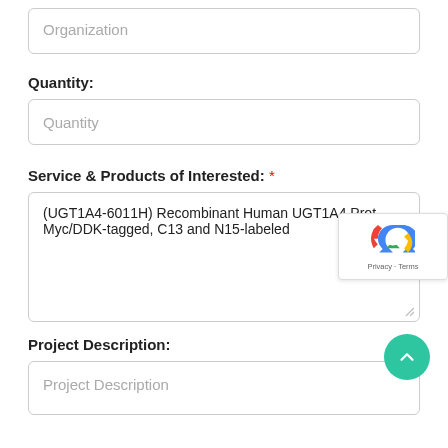Organization
Quantity:
Quantity
Service & Products of Interested: *
(UGT1A4-6011H) Recombinant Human UGT1A4 Prot… Myc/DDK-tagged, C13 and N15-labeled
Project Description:
Project Description